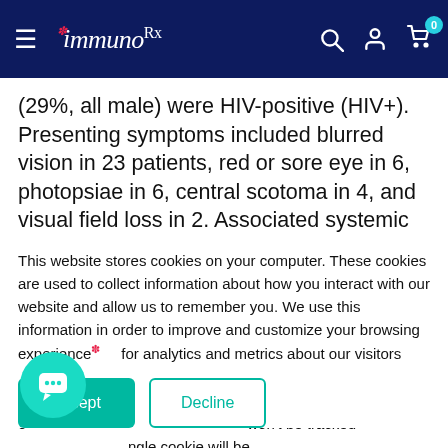ImmunoDx navigation bar with hamburger menu, logo, search, account, and cart icons
(29%, all male) were HIV-positive (HIV+). Presenting symptoms included blurred vision in 23 patients, red or sore eye in 6, photopsiae in 6, central scotoma in 4, and visual field loss in 2. Associated systemic
This website stores cookies on your computer. These
This website stores cookies on your computer. These cookies are used to collect information about how you interact with our website and allow us to remember you. We use this information in order to improve and customize your browsing experience and for analytics and metrics about our visitors both on this website and other media. To find out more about the cookies we use, see our Cookie Policy. If you decline, your information won't be tracked when you visit this website. A single cookie will be used in your browser to remember your preference not to be tracked.
Got any questions? I'm happy to help.
Accept
Decline